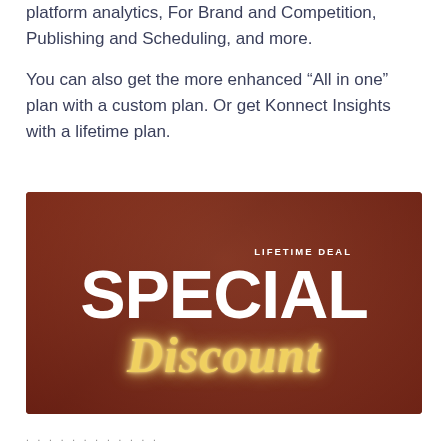platform analytics, For Brand and Competition, Publishing and Scheduling, and more.
You can also get the more enhanced “All in one” plan with a custom plan. Or get Konnect Insights with a lifetime plan.
[Figure (illustration): Promotional banner with dark red background showing 'LIFETIME DEAL' text above large white bold 'SPECIAL' text and stylized golden glowing cursive 'Discount' text below.]